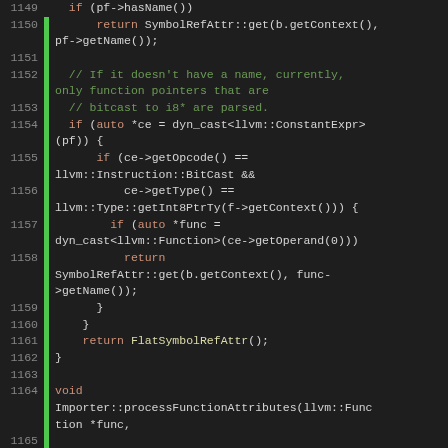[Figure (screenshot): Source code listing in dark theme editor, lines 1149-1169, C++ code for LLVM importer/function processing with syntax highlighting (orange for keywords/returns, green for comments, yellow for function names).]